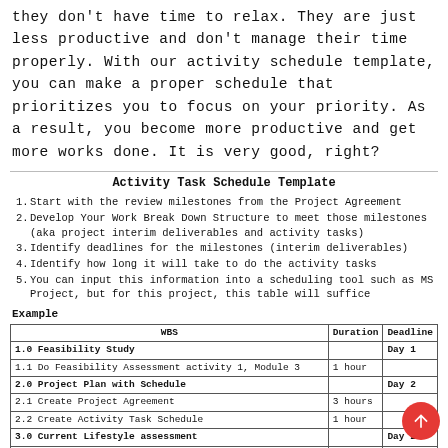they don't have time to relax. They are just less productive and don't manage their time properly. With our activity schedule template, you can make a proper schedule that prioritizes you to focus on your priority. As a result, you become more productive and get more works done. It is very good, right?
Activity Task Schedule Template
Start with the review milestones from the Project Agreement
Develop Your Work Break Down Structure to meet those milestones (aka project interim deliverables and activity tasks)
Identify deadlines for the milestones (interim deliverables)
Identify how long it will take to do the activity tasks
You can input this information into a scheduling tool such as MS Project, but for this project, this table will suffice
Example
| WBS | Duration | Deadline |
| --- | --- | --- |
| 1.0 Feasibility Study |  | Day 1 |
| 1.1 Do Feasibility Assessment activity 1, Module 3 | 1 hour |  |
| 2.0 Project Plan with Schedule |  | Day 2 |
| 2.1 Create Project Agreement | 3 hours |  |
| 2.2 Create Activity Task Schedule | 1 hour |  |
| 3.0 Current Lifestyle assessment |  | Day 2 |
| 3.1 Analyze current lifestyle and determine where you want to/need to make changes | 1 hour |  |
| 4.0 Lifestyle change plan |  | Day 3 |
| 4.1 Identify & Document lifestyle change goals | .5 hour |  |